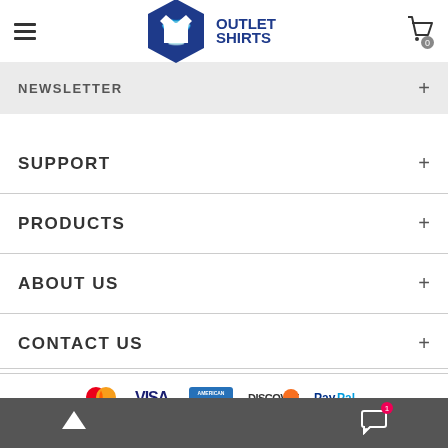[Figure (logo): Outlet Shirts logo with hexagon icon and shopping bag cart icon with hamburger menu]
NEWSLETTER
SUPPORT
PRODUCTS
ABOUT US
CONTACT US
[Figure (infographic): Payment method logos: MasterCard, VISA, American Express, Discover, PayPal]
© 2019 OutletShirts.com. All Rights Reserved
Bottom toolbar with scroll-up arrow and chat icon with badge 1